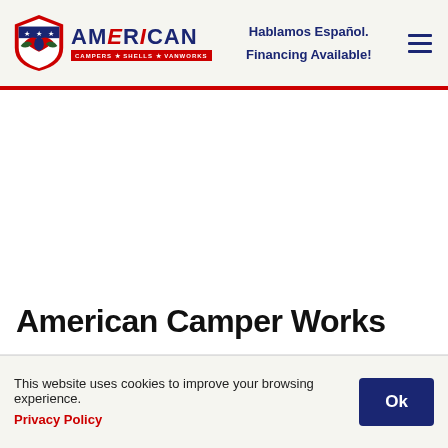American Camper Shells Vanworks — Hablamos Español. Financing Available!
American Camper Works
This website uses cookies to improve your browsing experience. Privacy Policy